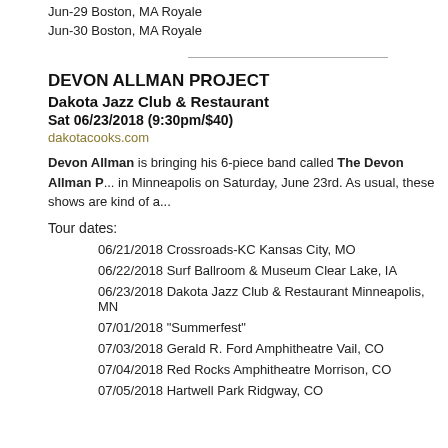Jun-29 Boston, MA Royale
Jun-30 Boston, MA Royale
DEVON ALLMAN PROJECT
Dakota Jazz Club & Restaurant
Sat 06/23/2018 (9:30pm/$40)
dakotacooks.com
Devon Allman is bringing his 6-piece band called The Devon Allman P... in Minneapolis on Saturday, June 23rd. As usual, these shows are kind of a...
Tour dates:
06/21/2018 Crossroads-KC Kansas City, MO
06/22/2018 Surf Ballroom & Museum Clear Lake, IA
06/23/2018 Dakota Jazz Club & Restaurant Minneapolis, MN
07/01/2018 "Summerfest"
07/03/2018 Gerald R. Ford Amphitheatre Vail, CO
07/04/2018 Red Rocks Amphitheatre Morrison, CO
07/05/2018 Hartwell Park Ridgway, CO